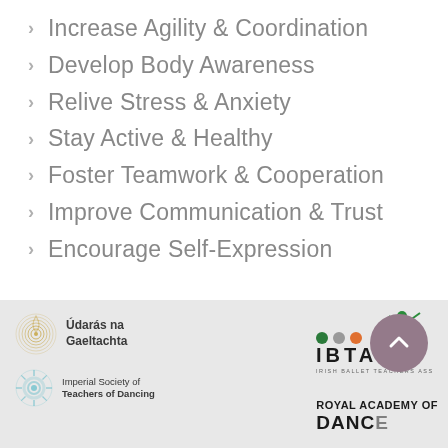Increase Agility & Coordination
Develop Body Awareness
Relive Stress & Anxiety
Stay Active & Healthy
Foster Teamwork & Cooperation
Improve Communication & Trust
Encourage Self-Expression
[Figure (logo): Údarás na Gaeltachta logo — circular concentric lines icon with text]
[Figure (logo): Imperial Society of Teachers of Dancing logo — circular wheel icon with text]
[Figure (logo): IBTA Irish Ballet Teachers Association logo — three colored dots (green, grey, orange) with letters IBTA and dancer figure]
[Figure (logo): Royal Academy of [Ballet] logo — partial text visible at bottom]